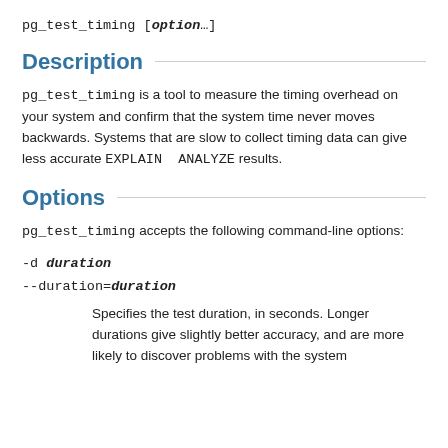pg_test_timing [option...]
Description
pg_test_timing is a tool to measure the timing overhead on your system and confirm that the system time never moves backwards. Systems that are slow to collect timing data can give less accurate EXPLAIN ANALYZE results.
Options
pg_test_timing accepts the following command-line options:
-d duration
--duration=duration
Specifies the test duration, in seconds. Longer durations give slightly better accuracy, and are more likely to discover problems with the system timing. The default test duration is 3 seconds.